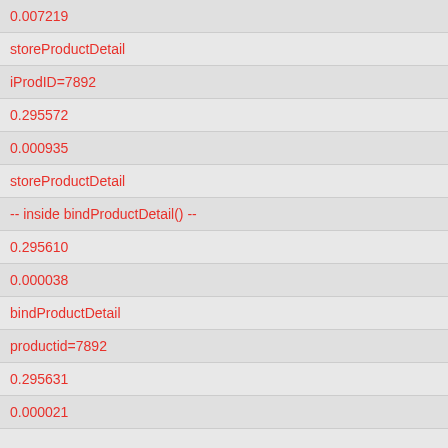0.007219
storeProductDetail
iProdID=7892
0.295572
0.000935
storeProductDetail
-- inside bindProductDetail() --
0.295610
0.000038
bindProductDetail
productid=7892
0.295631
0.000021
usp_StoreGetProductV2 PARAMETERS
0.295677